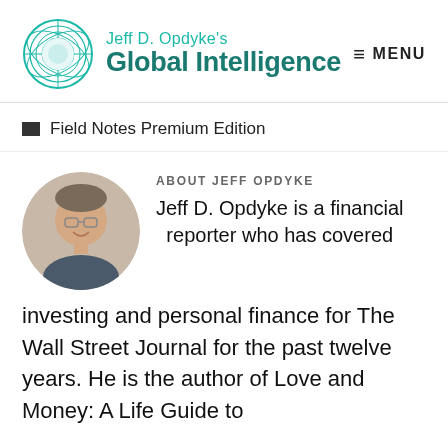Jeff D. Opdyke's Global Intelligence  MENU
Field Notes Premium Edition
[Figure (photo): Circular headshot photo of Jeff D. Opdyke, a middle-aged man with glasses, smiling.]
ABOUT JEFF OPDYKE
Jeff D. Opdyke is a financial reporter who has covered investing and personal finance for The Wall Street Journal for the past twelve years. He is the author of Love and Money: A Life Guide to